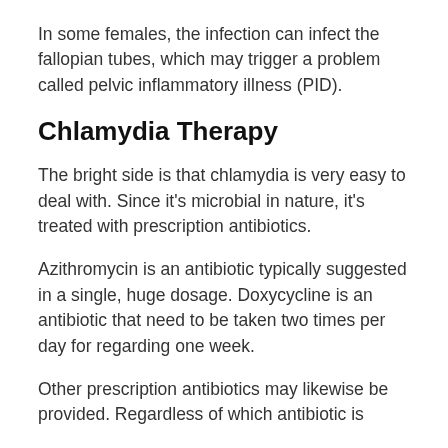In some females, the infection can infect the fallopian tubes, which may trigger a problem called pelvic inflammatory illness (PID).
Chlamydia Therapy
The bright side is that chlamydia is very easy to deal with. Since it's microbial in nature, it's treated with prescription antibiotics.
Azithromycin is an antibiotic typically suggested in a single, huge dosage. Doxycycline is an antibiotic that need to be taken two times per day for regarding one week.
Other prescription antibiotics may likewise be provided. Regardless of which antibiotic is